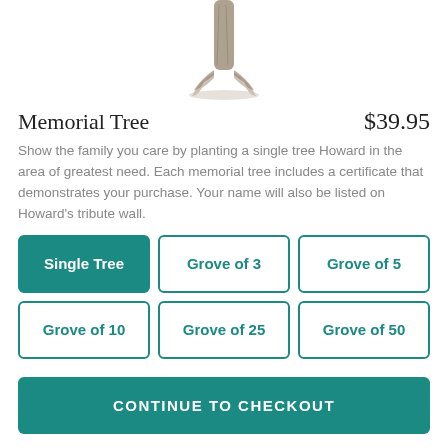[Figure (illustration): Pencil sketch of a tree trunk with roots at the base, cropped to show only the lower half of the tree]
Memorial Tree
$39.95
Show the family you care by planting a single tree Howard in the area of greatest need. Each memorial tree includes a certificate that demonstrates your purchase. Your name will also be listed on Howard's tribute wall.
Single Tree
Grove of 3
Grove of 5
Grove of 10
Grove of 25
Grove of 50
CONTINUE TO CHECKOUT